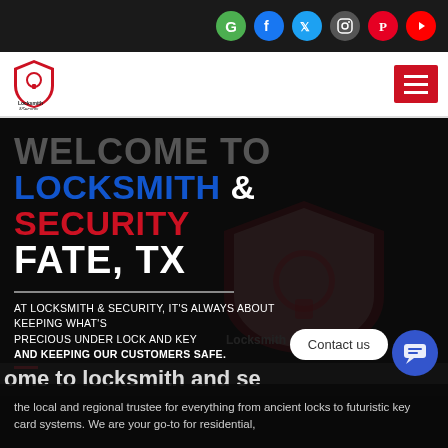Social media icons: Google, Facebook, Twitter, Instagram, Pinterest, YouTube
[Figure (logo): Locksmith & Security shield logo with key icon]
WELCOME TO LOCKSMITH & SECURITY FATE, TX
AT LOCKSMITH & SECURITY, IT'S ALWAYS ABOUT KEEPING WHAT'S PRECIOUS UNDER LOCK AND KEY AND KEEPING OUR CUSTOMERS SAFE.
ome to locksmith and se
the local and regional trustee for everything from ancient locks to futuristic key card systems. We are your go-to for residential,